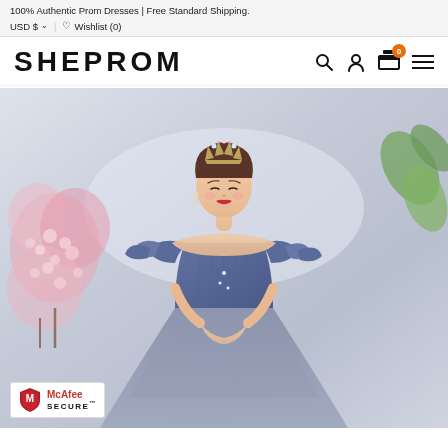100% Authentic Prom Dresses | Free Standard Shipping.
USD $ ∨  ♡ Wishlist (0)
SHEPROM
[Figure (photo): A woman wearing a blue off-shoulder prom dress with ruffled sleeves and a tulle skirt, wearing a floral crown, posed in a studio setting with pink cherry blossoms on the left and green leaves on the right. McAfee SECURE badge visible in the bottom left corner.]